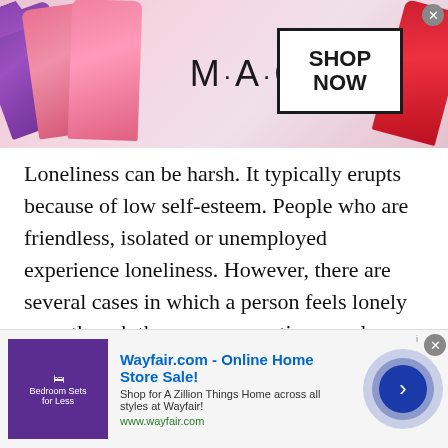[Figure (other): MAC cosmetics advertisement banner showing lipsticks and 'SHOP NOW' button]
Loneliness can be harsh. It typically erupts because of low self-esteem. People who are friendless, isolated or unemployed experience loneliness. However, there are several cases in which a person feels lonely even though there are supportive people around him. This feeling of being alone can be overwhelming so much so that it can lead to anxiety disorders or mood-related disorders.
A lonely person also stops taking care of himself. He may even neglect his diet and live an inactive lifestyle. The
[Figure (other): Wayfair.com online advertisement - 'Wayfair.com - Online Home Store Sale! Shop for A Zillion Things Home across all styles at Wayfair! www.wayfair.com']